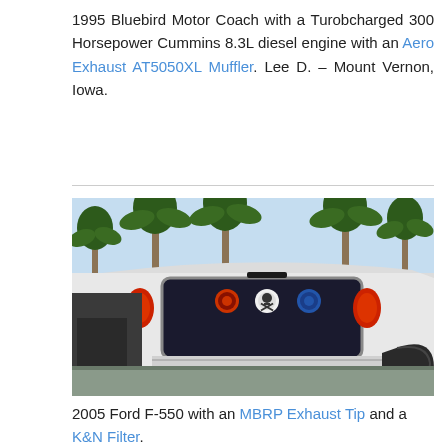1995 Bluebird Motor Coach with a Turobcharged 300 Horsepower Cummins 8.3L diesel engine with an Aero Exhaust AT5050XL Muffler. Lee D. – Mount Vernon, Iowa.
[Figure (photo): Rear view of a white 2005 Ford F-550 truck with stickers on the rear window, parked near palm trees in a sunny outdoor setting.]
2005 Ford F-550 with an MBRP Exhaust Tip and a K&N Filter. Rich N. – Mesa, Arizona.